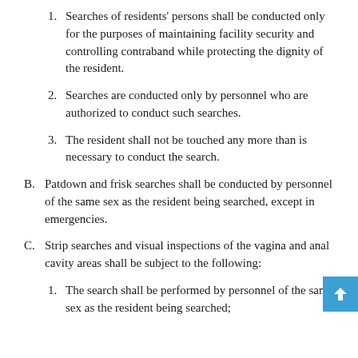1. Searches of residents' persons shall be conducted only for the purposes of maintaining facility security and controlling contraband while protecting the dignity of the resident.
2. Searches are conducted only by personnel who are authorized to conduct such searches.
3. The resident shall not be touched any more than is necessary to conduct the search.
B. Patdown and frisk searches shall be conducted by personnel of the same sex as the resident being searched, except in emergencies.
C. Strip searches and visual inspections of the vagina and anal cavity areas shall be subject to the following:
1. The search shall be performed by personnel of the same sex as the resident being searched;